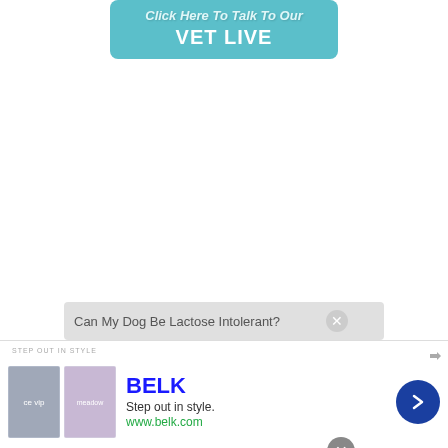[Figure (other): Teal/blue rounded button with text 'Click Here To Talk To Our VET LIVE' on white background at top of page]
[Figure (screenshot): A gray search bar containing the text 'Can My Dog Be Lactose Intolerant?' with a close/X circle icon on the right]
[Figure (screenshot): Advertisement banner for BELK. Shows 'STEP OUT IN STYLE' label, two product images, BELK brand name in blue, 'Step out in style.' tagline, 'www.belk.com' URL, and a dark blue circular arrow navigation button. Has an X close button.]